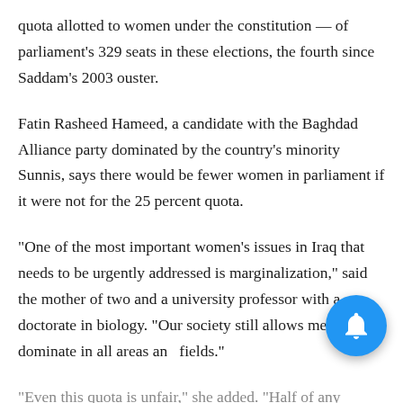quota allotted to women under the constitution — of parliament's 329 seats in these elections, the fourth since Saddam's 2003 ouster.
Fatin Rasheed Hameed, a candidate with the Baghdad Alliance party dominated by the country's minority Sunnis, says there would be fewer women in parliament if it were not for the 25 percent quota.
"One of the most important women's issues in Iraq that needs to be urgently addressed is marginalization," said the mother of two and a university professor with a doctorate in biology. "Our society still allows men to dominate in all areas and fields."
"Even this quota is unfair," she added. "Half of any society's success depends on women; therefore the representation